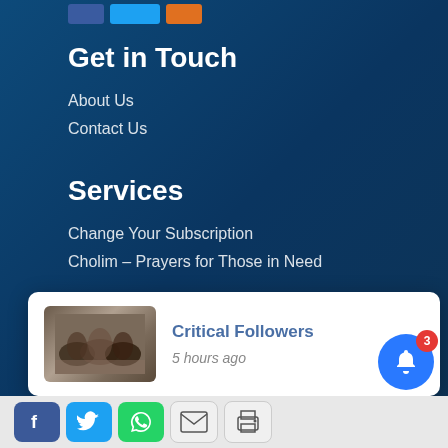[Figure (screenshot): Top social sharing button strip with dark blue, cyan/Twitter blue, and orange buttons]
Get in Touch
About Us
Contact Us
Services
Change Your Subscription
Cholim – Prayers for Those in Need
Support Torah.org
Make a Donation
Dedicate an Article
[Figure (screenshot): Notification popup overlay with thumbnail image of hands joined together, title 'Critical Followers' in blue, timestamp '5 hours ago' in gray, and X close button]
[Figure (screenshot): Bottom social media icon bar with Facebook, Twitter, WhatsApp, Email, and Print icons, plus a blue bell notification button with red badge showing '3']